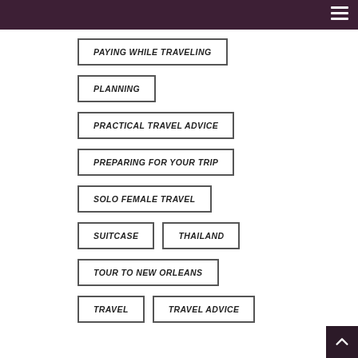navigation menu
PAYING WHILE TRAVELING
PLANNING
PRACTICAL TRAVEL ADVICE
PREPARING FOR YOUR TRIP
SOLO FEMALE TRAVEL
SUITCASE
THAILAND
TOUR TO NEW ORLEANS
TRAVEL
TRAVEL ADVICE